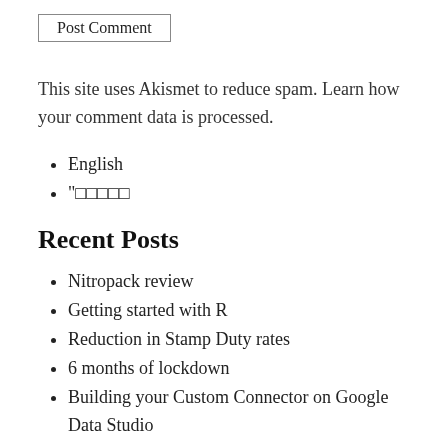Post Comment
This site uses Akismet to reduce spam. Learn how your comment data is processed.
English
”□□□□□
Recent Posts
Nitropack review
Getting started with R
Reduction in Stamp Duty rates
6 months of lockdown
Building your Custom Connector on Google Data Studio